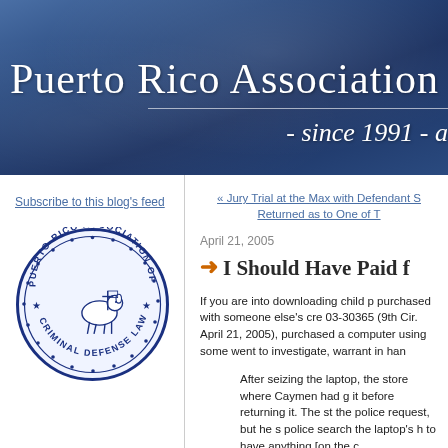Puerto Rico Association o
- since 1991 - a
Subscribe to this blog's feed
[Figure (logo): Puerto Rico Association of Criminal Defense Lawyers circular seal with a lamb holding a cross in the center]
« Jury Trial at the Max with Defendant S Returned as to One of T
April 21, 2005
I Should Have Paid f
If you are into downloading child p purchased with someone else's cre 03-30365 (9th Cir. April 21, 2005), purchased a computer using some went to investigate, warrant in han
After seizing the laptop, the store where Caymen had g it before returning it. The st the police request, but he s police search the laptop's h to have anything [on the c